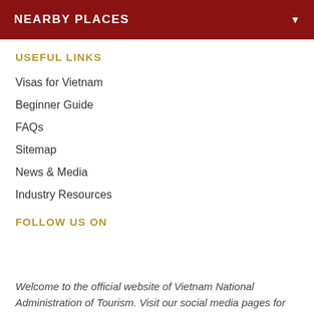NEARBY PLACES
USEFUL LINKS
Visas for Vietnam
Beginner Guide
FAQs
Sitemap
News & Media
Industry Resources
FOLLOW US ON
Welcome to the official website of Vietnam National Administration of Tourism. Visit our social media pages for more travel inspiration.